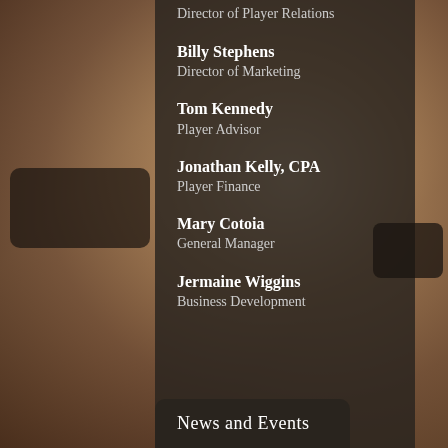[Figure (photo): Sepia-toned photo of an athletic muscular man doing push-ups with dumbbells on the floor, viewed from the side]
Director of Player Relations
Billy Stephens
Director of Marketing
Tom Kennedy
Player Advisor
Jonathan Kelly, CPA
Player Finance
Mary Cotoia
General Manager
Jermaine Wiggins
Business Development
News and Events